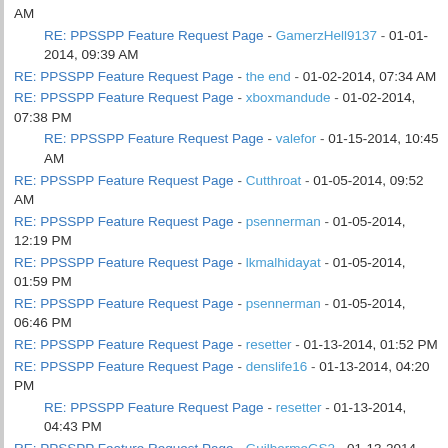RE: PPSSPP Feature Request Page - GamerzHell9137 - 01-01-2014, 09:39 AM
RE: PPSSPP Feature Request Page - the end - 01-02-2014, 07:34 AM
RE: PPSSPP Feature Request Page - xboxmandude - 01-02-2014, 07:38 PM
RE: PPSSPP Feature Request Page - valefor - 01-15-2014, 10:45 AM
RE: PPSSPP Feature Request Page - Cutthroat - 01-05-2014, 09:52 AM
RE: PPSSPP Feature Request Page - psennerman - 01-05-2014, 12:19 PM
RE: PPSSPP Feature Request Page - lkmalhidayat - 01-05-2014, 01:59 PM
RE: PPSSPP Feature Request Page - psennerman - 01-05-2014, 06:46 PM
RE: PPSSPP Feature Request Page - resetter - 01-13-2014, 01:52 PM
RE: PPSSPP Feature Request Page - denslife16 - 01-13-2014, 04:20 PM
RE: PPSSPP Feature Request Page - resetter - 01-13-2014, 04:43 PM
RE: PPSSPP Feature Request Page - GuilhermeGS2 - 01-13-2014, 05:00 PM
RE: PPSSPP Feature Request Page - denslife16 - 01-14-2014, 04:18 AM